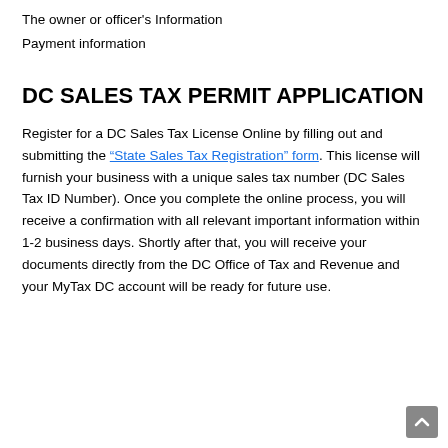The owner or officer's Information
Payment information
DC SALES TAX PERMIT APPLICATION
Register for a DC Sales Tax License Online by filling out and submitting the “State Sales Tax Registration” form. This license will furnish your business with a unique sales tax number (DC Sales Tax ID Number). Once you complete the online process, you will receive a confirmation with all relevant important information within 1-2 business days. Shortly after that, you will receive your documents directly from the DC Office of Tax and Revenue and your MyTax DC account will be ready for future use.